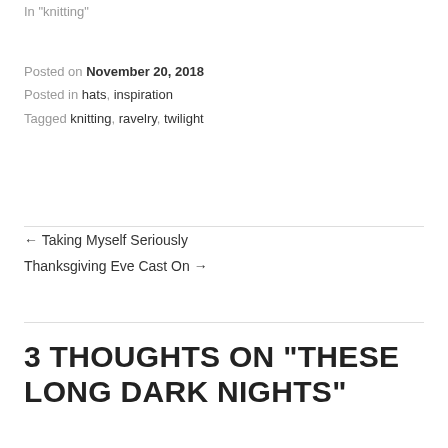In "knitting"
Posted on November 20, 2018
Posted in hats, inspiration
Tagged knitting, ravelry, twilight
← Taking Myself Seriously
Thanksgiving Eve Cast On →
3 THOUGHTS ON "THESE LONG DARK NIGHTS"